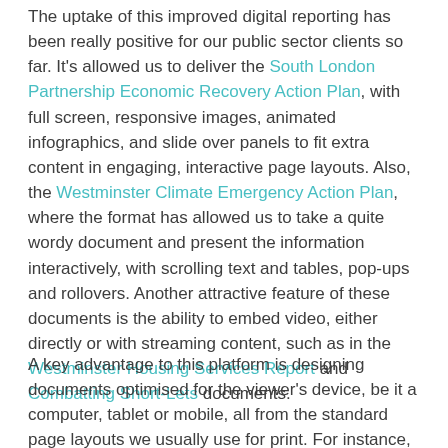The uptake of this improved digital reporting has been really positive for our public sector clients so far. It's allowed us to deliver the South London Partnership Economic Recovery Action Plan, with full screen, responsive images, animated infographics, and slide over panels to fit extra content in engaging, interactive page layouts. Also, the Westminster Climate Emergency Action Plan, where the format has allowed us to take a quite wordy document and present the information interactively, with scrolling text and tables, pop-ups and rollovers. Another attractive feature of these documents is the ability to embed video, either directly or with streaming content, such as in the Westminster Housing Services Report and Combatting Short-Lets documents.
A key advantage to this platform is designing documents optimised for the viewer's device, be it a computer, tablet or mobile, all from the standard page layouts we usually use for print. For instance, we recently published the third volume of the Taste of Westminster recipe books. Due to the nature of the